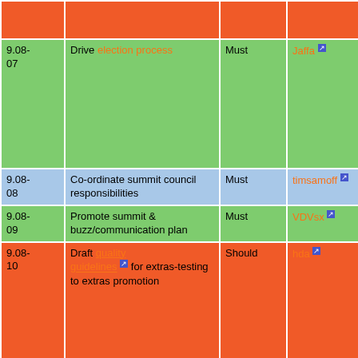| ID | Task | Priority | Owner | Status | Notes |
| --- | --- | --- | --- | --- | --- |
|  |  |  |  |  | rea... |
| 9.08-07 | Drive election process | Must | Jaffa | 100% | Ann... pub... fro... dne... |
| 9.08-08 | Co-ordinate summit council responsibilities | Must | timsamoff | 60% | Me... |
| 9.08-09 | Promote summit & buzz/communication plan | Must | VDVsx | Done | Ma... Ca... |
| 9.08-10 | Draft quality guidelines for extras-testing to extras promotion | Should | hda | 10% | Dra... con... rath... def... Ext... |
| 9.06-12 | #4405: Task:Proof-read Human Interface Guidelines | Should | dneary | DONE | Ch... doc... Do... Dev... Inte... |
| 9.04-05 | Implement key... | Should | fctrs... | 80% | Ro... pro... |